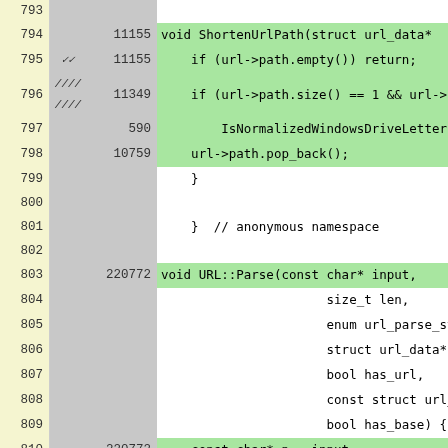[Figure (screenshot): Code coverage view showing C++ source code lines 793-818 with line numbers, coverage tick marks, execution counts, and highlighted code. Green background indicates covered lines, white/uncolored indicates uncovered or non-executable lines.]